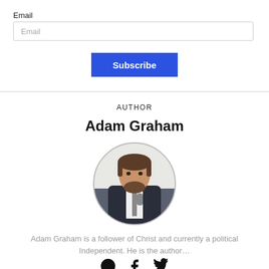Email
Email
Subscribe
AUTHOR
Adam Graham
[Figure (photo): Circular profile photo of Adam Graham, a man with dark hair and beard, wearing a dark suit, appears to be holding a microphone]
Adam Graham is a follower of Christ and currently a political Independent. He is the author…
[Figure (other): Social media icons: globe/website, Facebook, Twitter]